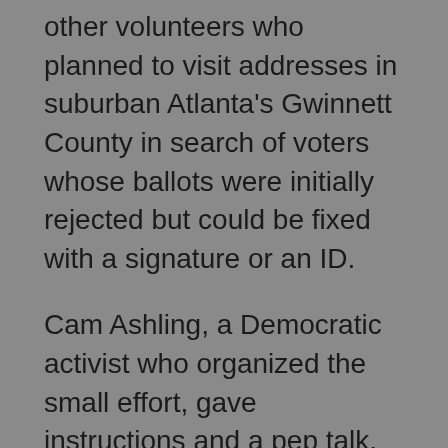other volunteers who planned to visit addresses in suburban Atlanta's Gwinnett County in search of voters whose ballots were initially rejected but could be fixed with a signature or an ID.
Cam Ashling, a Democratic activist who organized the small effort, gave instructions and a pep talk. “Never has it ever been more true than now that every vote counts,” she shouted beside a pickup truck with a bed full of snacks, water and a big bottle of hand sanitizer.
Clatterbuck and Meng drove through suburban neighborhoods in their small SUV. They walked past rose bushes to knock on the door of a